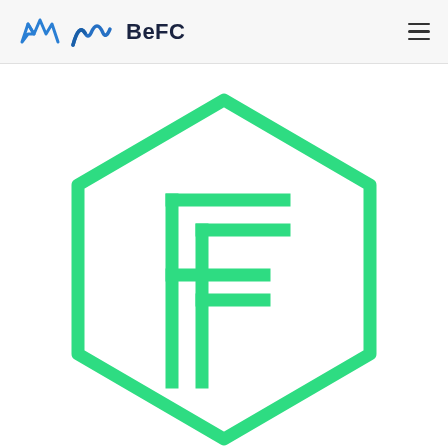BeFC
[Figure (logo): BeFC company logo: a green hexagon outline containing a double-F letter mark in green, on white background. The hexagon is partially cropped at the bottom.]